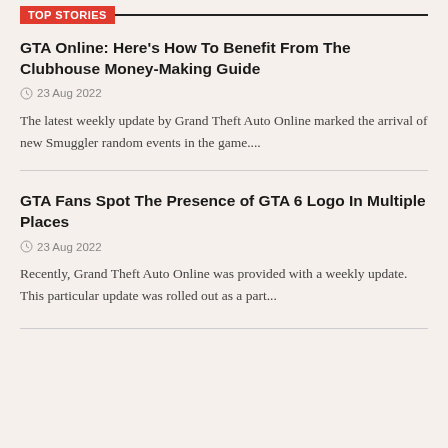Top Stories
GTA Online: Here's How To Benefit From The Clubhouse Money-Making Guide
23 Aug 2022
The latest weekly update by Grand Theft Auto Online marked the arrival of new Smuggler random events in the game....
GTA Fans Spot The Presence of GTA 6 Logo In Multiple Places
23 Aug 2022
Recently, Grand Theft Auto Online was provided with a weekly update. This particular update was rolled out as a part...